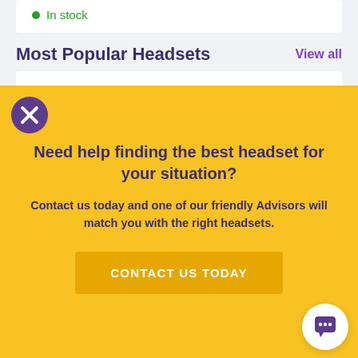In stock
Most Popular Headsets
View all
[Figure (screenshot): Close/dismiss button (purple circle with X) on yellow background]
Need help finding the best headset for your situation?
Contact us today and one of our friendly Advisors will match you with the right headsets.
CONTACT US TODAY